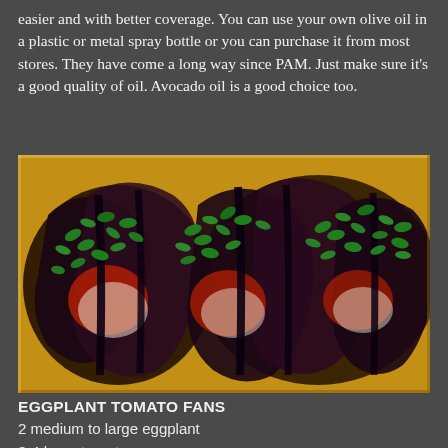easier and with better coverage.  You can use your own olive oil in a plastic or metal spray bottle or you can purchase it from most stores.  They have come a long way since PAM.  Just make sure it's a good quality of oil.  Avocado oil is a good choice too.
[Figure (photo): A baking dish containing eggplant tomato fans — sliced eggplants fanned open and filled with tomatoes and mozzarella, topped with fresh chopped herbs (basil/parsley), baked and golden.]
EGGPLANT TOMATO FANS
2 medium to large eggplant
3-4 large tomatoes
10-12 oz fresh mozzarella, sliced